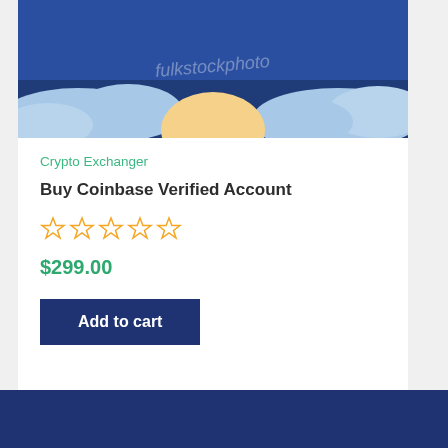[Figure (illustration): Product image showing a dark blue sky with white clouds and a yellow/golden sun rising or setting, with watermark text 'fulkstockphoto' overlaid in the middle]
Crypto Exchanger
Buy Coinbase Verified Account
☆☆☆☆☆ (0 stars rating)
$299.00
Add to cart